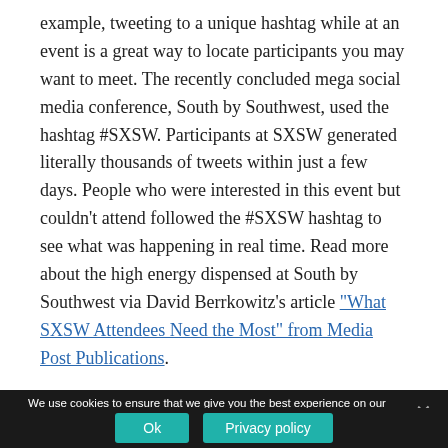example, tweeting to a unique hashtag while at an event is a great way to locate participants you may want to meet.  The recently concluded mega social media conference, South by Southwest, used the hashtag #SXSW.  Participants at SXSW generated literally thousands of tweets within just a few days.  People who were interested in this event but couldn't attend followed the #SXSW hashtag to see what was happening in real time.  Read more about the high energy dispensed at South by Southwest via David Berrkowitz's article "What SXSW Attendees Need the Most" from Media Post Publications.
We use cookies to ensure that we give you the best experience on our website. If you continue to use this site we will assume that you are happy with it.